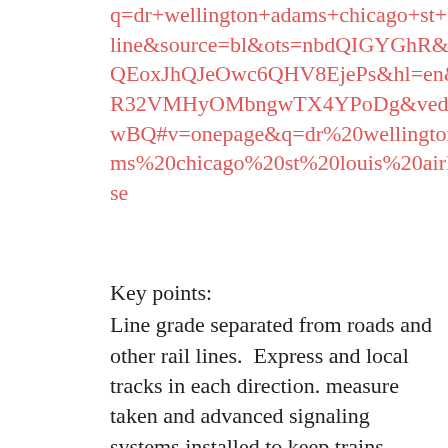q=dr+wellington+adams+chicago+st+louis+airline&source=bl&ots=nbdQIGYGhR&sig=S08uNQEoxJhQJeOwc6QHV8EjePs&hl=en&sa=X&ei=1R32VMHyOMbngwTX4YPoDg&ved=0CC4Q6AEwBQ#v=onepage&q=dr%20wellington%20adams%20chicago%20st%20louis%20airline&f=false
Key points: Line grade separated from roads and other rail lines.  Express and local tracks in each direction. measure taken and advanced signaling systems installed to keep trains separate at high speeds.  Trains streamlined to reduce drag.  Except for Adam's lack of knowledge of technologies that did not yet